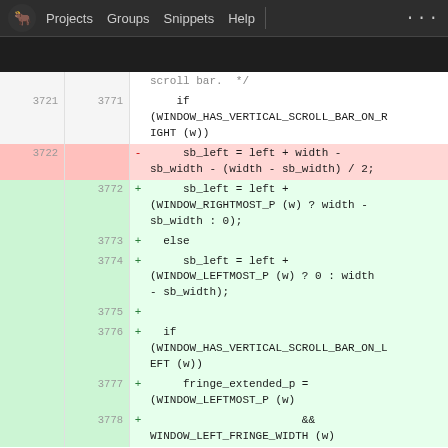Projects  Groups  Snippets  Help  ...
[Figure (screenshot): Git diff view of C source code showing changes to scroll bar positioning logic. Lines 3721-3778 are shown. Removed line 3722 shows 'sb_left = left + width - sb_width - (width - sb_width) / 2;'. Added lines 3772-3778 show new logic using WINDOW_RIGHTMOST_P and WINDOW_LEFTMOST_P macros.]